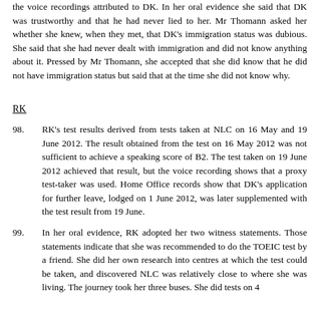the voice recordings attributed to DK. In her oral evidence she said that DK was trustworthy and that he had never lied to her. Mr Thomann asked her whether she knew, when they met, that DK's immigration status was dubious. She said that she had never dealt with immigration and did not know anything about it. Pressed by Mr Thomann, she accepted that she did know that he did not have immigration status but said that at the time she did not know why.
RK
98. RK's test results derived from tests taken at NLC on 16 May and 19 June 2012. The result obtained from the test on 16 May 2012 was not sufficient to achieve a speaking score of B2. The test taken on 19 June 2012 achieved that result, but the voice recording shows that a proxy test-taker was used. Home Office records show that DK's application for further leave, lodged on 1 June 2012, was later supplemented with the test result from 19 June.
99. In her oral evidence, RK adopted her two witness statements. Those statements indicate that she was recommended to do the TOEIC test by a friend. She did her own research into centres at which the test could be taken, and discovered NLC was relatively close to where she was living. The journey took her three buses. She did tests on 4